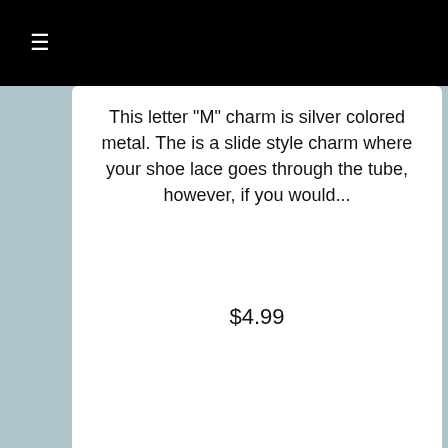≡ (navigation menu)
This letter "M" charm is silver colored metal. The is a slide style charm where your shoe lace goes through the tube, however, if you would...
$4.99
... more info
[Figure (photo): Letter charms A, B, C, D, E shown hanging with small logo tags attached, arranged in two rows]